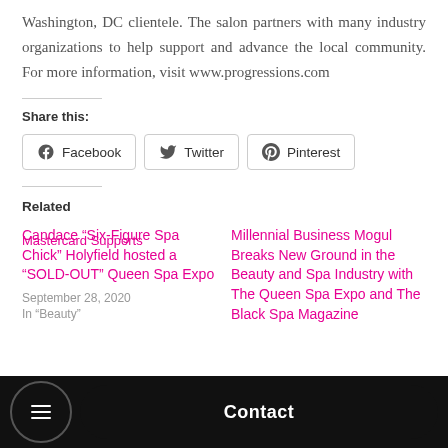Washington, DC clientele. The salon partners with many industry organizations to help support and advance the local community. For more information, visit www.progressions.com
Share this:
Facebook  Twitter  Pinterest
Related
Candace “Six-Figure Spa Chick” Holyfield hosted a “SOLD-OUT” Queen Spa Expo
September 28, 2020
In “Beauty”
Millennial Business Mogul Breaks New Ground in the Beauty and Spa Industry with The Queen Spa Expo and The Black Spa Magazine
Mastercard Supports